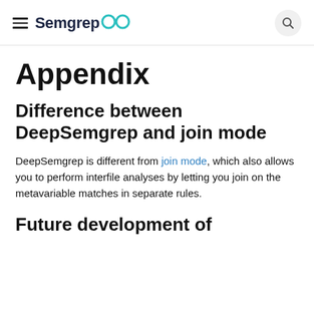Semgrep
Appendix
Difference between DeepSemgrep and join mode
DeepSemgrep is different from join mode, which also allows you to perform interfile analyses by letting you join on the metavariable matches in separate rules.
Future development of